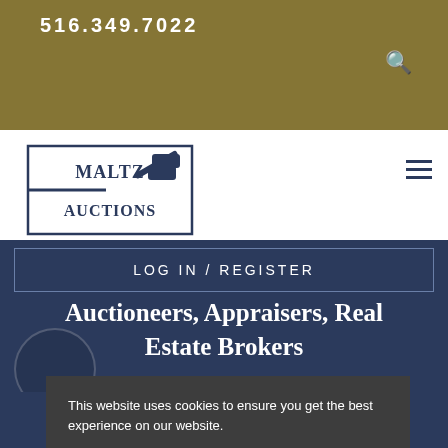516.349.7022
[Figure (logo): Maltz Auctions logo with gavel icon and text MALTZ AUCTIONS in a rectangular border]
LOG IN / REGISTER
Auctioneers, Appraisers, Real Estate Brokers
This website uses cookies to ensure you get the best experience on our website. Learn more
Got it!